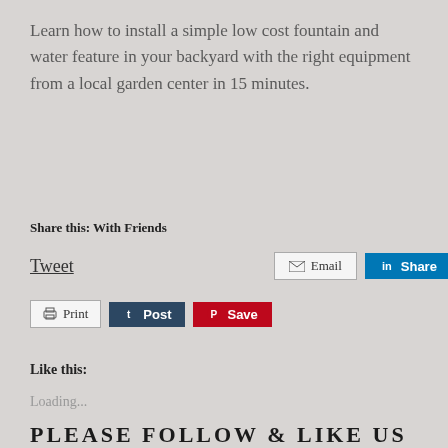Learn how to install a simple low cost fountain and water feature in your backyard with the right equipment from a local garden center in 15 minutes.
Share this: With Friends
Tweet  Email  Share  Print  Post  Save
Like this:
Loading...
PLEASE FOLLOW & LIKE US